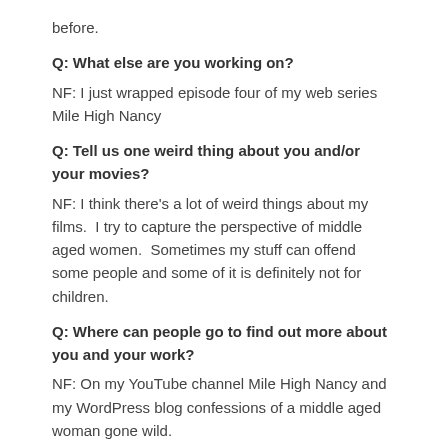before.
Q: What else are you working on?
NF: I just wrapped episode four of my web series Mile High Nancy
Q: Tell us one weird thing about you and/or your movies?
NF: I think there's a lot of weird things about my films.  I try to capture the perspective of middle aged women.  Sometimes my stuff can offend some people and some of it is definitely not for children.
Q: Where can people go to find out more about you and your work?
NF: On my YouTube channel Mile High Nancy and my WordPress blog confessions of a middle aged woman gone wild.
Q: Is there anything you'd like to say about The Emerging Filmmakers Project?